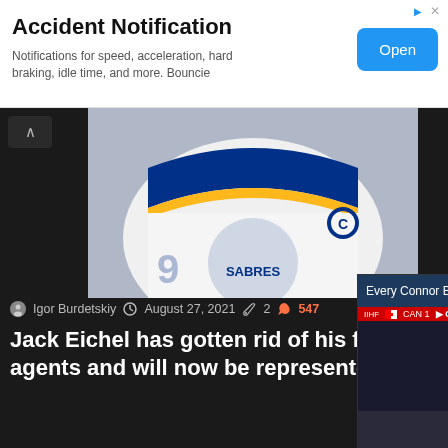[Figure (screenshot): Advertisement banner for Accident Notification app by Bouncie with an Open button]
Accident Notification
Notifications for speed, acceleration, hard braking, idle time, and more. Bouncie
[Figure (photo): Buffalo Sabres hockey jersey with captain C logo and Buffalo Sabres logo]
Igor Burdetskiy  August 27, 2021  2  547
Jack Eichel has gotten rid of his former agents and will now be represented b…
The Jack Eichel saga ha… today's most recent up… that...
Read More »
[Figure (screenshot): Video popup overlay: Every Connor Bedard Point from Summ... with a hockey player in red and white Canada jersey with face mask, GOAL graphic visible]